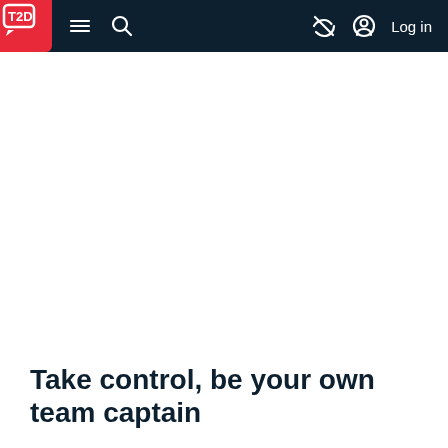T2D — Take control, be your own team captain
Take control, be your own team captain